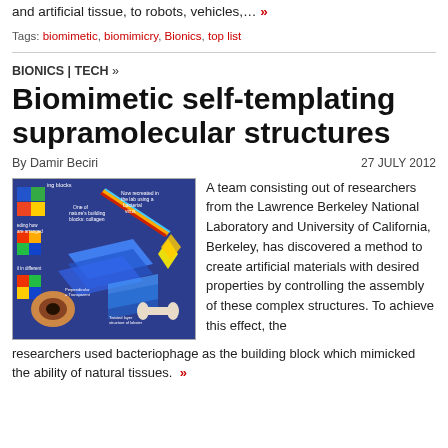and artificial tissue, to robots, vehicles,… »
Tags: biomimetic, biomimicry, Bionics, top list
BIONICS | TECH »
Biomimetic self-templating supramolecular structures
By Damir Beciri   27 JULY 2012
[Figure (illustration): Scientific illustration showing building blocks concept: collagen fiber structure, colored cubes arranged in different configurations, and transparent/perpendicular layer structures. Text labels include 'ing blocks', 'eding how are arranged', 'One of nature's building blocks: collagen', 'Now recreated in the lab using a bacterial virus', 'il in different', 'Perpendicular = Transparent', 'Twisted layer structure of lobster'.]
A team consisting out of researchers from the Lawrence Berkeley National Laboratory and University of California, Berkeley, has discovered a method to create artificial materials with desired properties by controlling the assembly of these complex structures. To achieve this effect, the researchers used bacteriophage as the building block which mimicked the ability of natural tissues. »